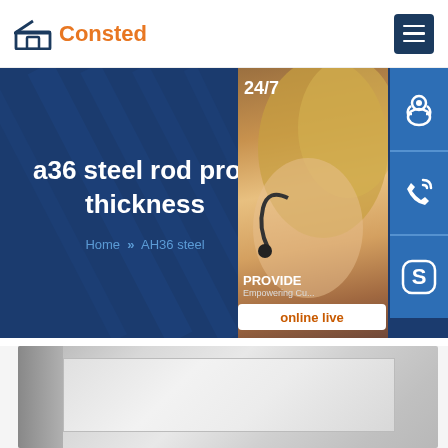[Figure (logo): Consted company logo with house icon in dark blue and orange text]
a36 steel rod prop thickness
Home » AH36 steel
[Figure (photo): Customer service representative photo with 24/7 overlay, support icons (headset, phone, Skype), PROVIDE Empowering Customers text, and online live button]
[Figure (photo): Steel plate or sheet metal product photo in grey tones]